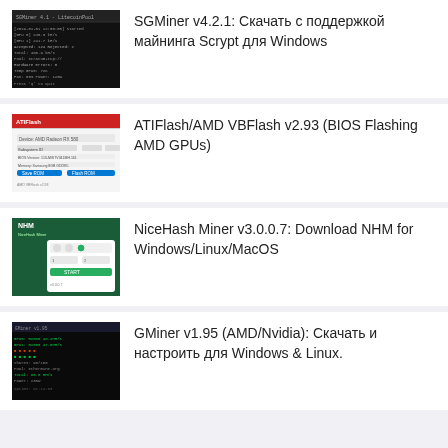SGMiner v4.2.1: Скачать с поддержкой майнинга Scrypt для Windows
ATIFlash/AMD VBFlash v2.93 (BIOS Flashing AMD GPUs)
NiceHash Miner v3.0.0.7: Download NHM for Windows/Linux/MacOS
GMiner v1.95 (AMD/Nvidia): Скачать и настроить для Windows & Linux.